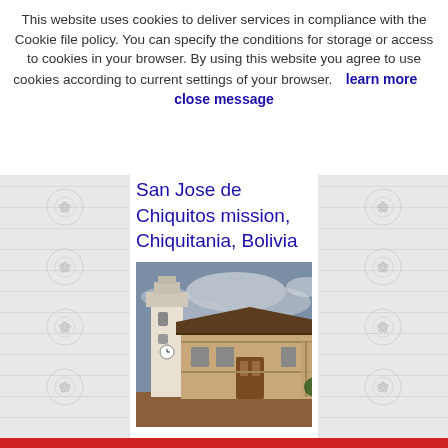This website uses cookies to deliver services in compliance with the Cookie file policy. You can specify the conditions for storage or access to cookies in your browser. By using this website you agree to use cookies according to current settings of your browser.  learn more     close message
San Jose de Chiquitos mission, Chiquitania, Bolivia
[Figure (photo): Photograph of San Ignacio de Velasco mission church in Chiquitania, Bolivia. A white bell tower on the left and a large wooden-roofed mission church building with ornate facade on the right, under a cloudy sky.]
San Ignacio de Velasco mission, Chiquitania, Bolivia